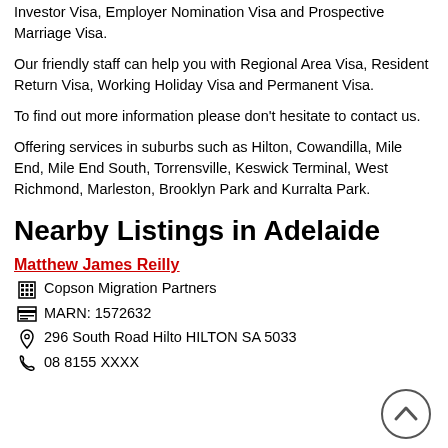Investor Visa, Employer Nomination Visa and Prospective Marriage Visa.
Our friendly staff can help you with Regional Area Visa, Resident Return Visa, Working Holiday Visa and Permanent Visa.
To find out more information please don't hesitate to contact us.
Offering services in suburbs such as Hilton, Cowandilla, Mile End, Mile End South, Torrensville, Keswick Terminal, West Richmond, Marleston, Brooklyn Park and Kurralta Park.
Nearby Listings in Adelaide
Matthew James Reilly
Copson Migration Partners
MARN: 1572632
296 South Road Hilto HILTON SA 5033
08 8155 XXXX